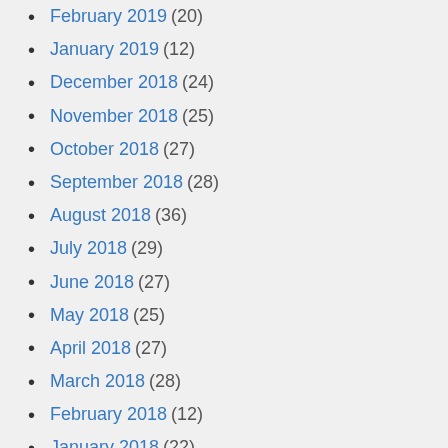February 2019 (20)
January 2019 (12)
December 2018 (24)
November 2018 (25)
October 2018 (27)
September 2018 (28)
August 2018 (36)
July 2018 (29)
June 2018 (27)
May 2018 (25)
April 2018 (27)
March 2018 (28)
February 2018 (12)
January 2018 (22)
December 2017 (24)
November 2017 (18)
October 2017 (16)
September 2017 (30)